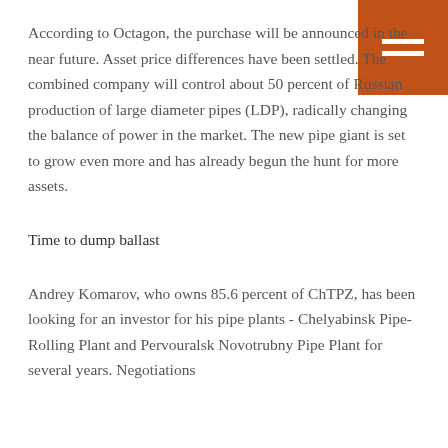[Figure (other): Orange square menu icon with two white horizontal bars in top-right corner]
According to Octagon, the purchase will be announced in the near future. Asset price differences have been settled. The combined company will control about 50 percent of Russian production of large diameter pipes (LDP), radically changing the balance of power in the market. The new pipe giant is set to grow even more and has already begun the hunt for more assets.
Time to dump ballast
Andrey Komarov, who owns 85.6 percent of ChTPZ, has been looking for an investor for his pipe plants - Chelyabinsk Pipe-Rolling Plant and Pervouralsk Novotrubny Pipe Plant for several years. Negotiations